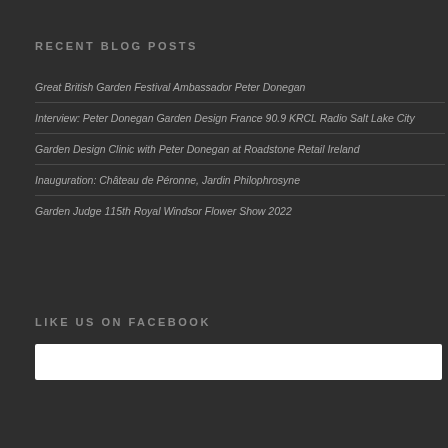RECENT BLOG POSTS
Great British Garden Festival Ambassador Peter Donegan
Interview: Peter Donegan Garden Design France 90.9 KRCL Radio Salt Lake City
Garden Design Clinic with Peter Donegan at Roadstone Retail Ireland
Inauguration: Château de Péronne, Jardin Philophrosyne
Garden Judge 115th Royal Windsor Flower Show 2022
LIKE US ON FACEBOOK
[Figure (other): White Facebook widget/embed box]